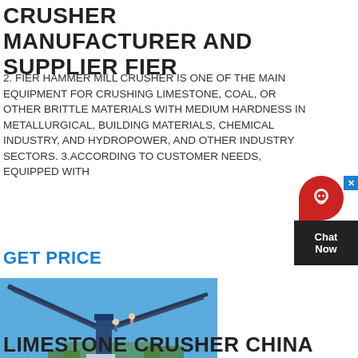CRUSHER MANUFACTURER AND SUPPLIER FIER
2. FIER HAMMER MILL CRUSHER IS ONE OF THE MAIN EQUIPMENT FOR CRUSHING LIMESTONE, COAL, OR OTHER BRITTLE MATERIALS WITH MEDIUM HARDNESS IN METALLURGICAL, BUILDING MATERIALS, CHEMICAL INDUSTRY, AND HYDROPOWER, AND OTHER INDUSTRY SECTORS. 3.ACCORDING TO CUSTOMER NEEDS, EQUIPPED WITH
GET PRICE
[Figure (photo): Industrial crusher/conveyor equipment on a construction site under blue sky]
LIMESTONE CRUSHER CHINA